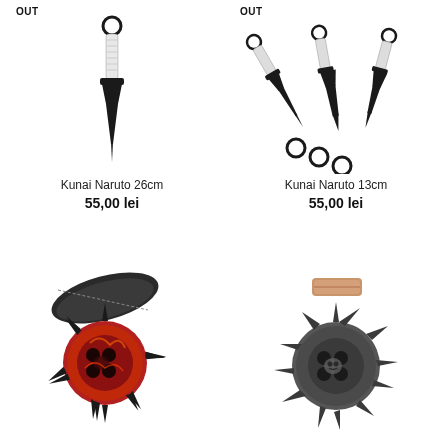OUT
[Figure (photo): Single black Kunai Naruto 26cm with white handle wrapped, ring at top, pointed blade]
Kunai Naruto 26cm
55,00 lei
OUT
[Figure (photo): Set of three black Kunai Naruto 13cm with rings at bottom, fanned out arrangement]
Kunai Naruto 13cm
55,00 lei
[Figure (photo): Red and black spiked throwing star shuriken with skull design and leather holster pouch]
[Figure (photo): Dark gunmetal spiked throwing star shuriken with skull design and copper/bronze handle]